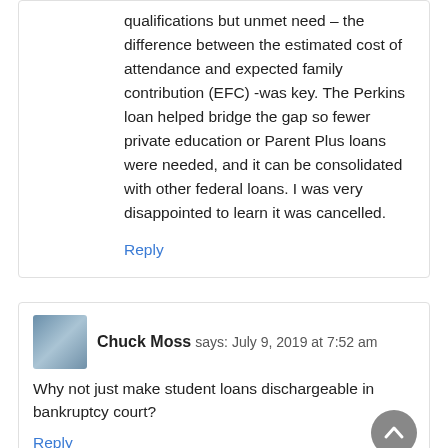qualifications but unmet need – the difference between the estimated cost of attendance and expected family contribution (EFC) -was key. The Perkins loan helped bridge the gap so fewer private education or Parent Plus loans were needed, and it can be consolidated with other federal loans. I was very disappointed to learn it was cancelled.
Reply
Chuck Moss says: July 9, 2019 at 7:52 am
Why not just make student loans dischargeable in bankruptcy court?
Reply